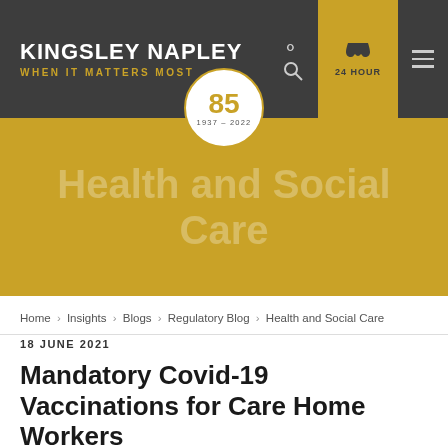KINGSLEY NAPLEY | WHEN IT MATTERS MOST
[Figure (logo): Kingsley Napley 85th anniversary badge, 1937-2022]
Health and Social Care
Home › Insights › Blogs › Regulatory Blog › Health and Social Care
18 JUNE 2021
Mandatory Covid-19 Vaccinations for Care Home Workers
This week, the Government announced that